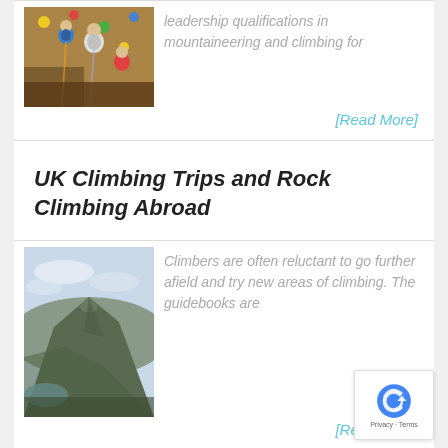[Figure (photo): People climbing on an indoor climbing wall with colorful holds, wearing helmets and harnesses]
leadership qualifications in mountaineering and climbing for
[Read More]
UK Climbing Trips and Rock Climbing Abroad
[Figure (photo): Mountain landscape with a rocky ridge, green hillside, and a lake visible below]
Climbers are often reluctant to go further afield and try new areas of climbing. The guidebooks are
[Read More]
Climbing Articles